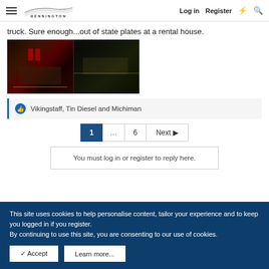Bennington | Log in | Register
truck. Sure enough...out of state plates at a rental house.
[Figure (photo): Two nighttime photos side by side showing vehicles on a street with red lights visible in the left photo and a car on a dark road in the right photo.]
Vikingstaff, Tin Diesel and Michiman
1 ... 6 Next
You must log in or register to reply here.
This site uses cookies to help personalise content, tailor your experience and to keep you logged in if you register. By continuing to use this site, you are consenting to our use of cookies.
✓ Accept | Learn more...